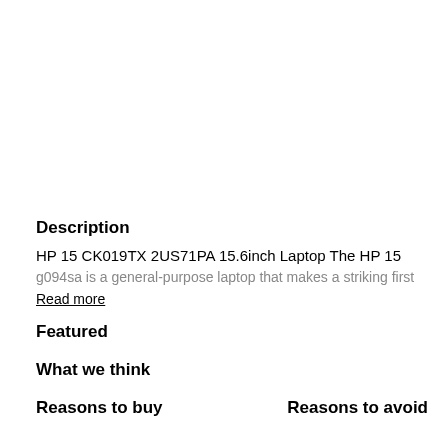Description
HP 15 CK019TX 2US71PA 15.6inch Laptop The HP 15
g094sa is a general-purpose laptop that makes a striking first
Read more
Featured
What we think
Reasons to buy
Reasons to avoid